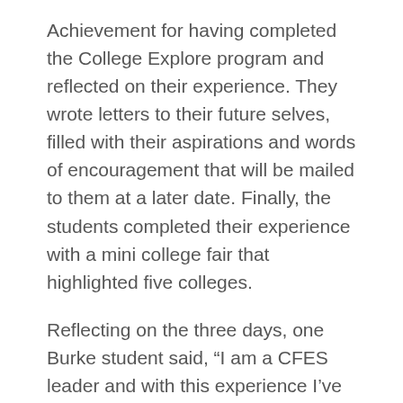Achievement for having completed the College Explore program and reflected on their experience. They wrote letters to their future selves, filled with their aspirations and words of encouragement that will be mailed to them at a later date. Finally, the students completed their experience with a mini college fair that highlighted five colleges.
Reflecting on the three days, one Burke student said, “I am a CFES leader and with this experience I’ve realized that I have grown and I can make others around me grow. I learned that I am a bigger and stronger leader because of this program.”